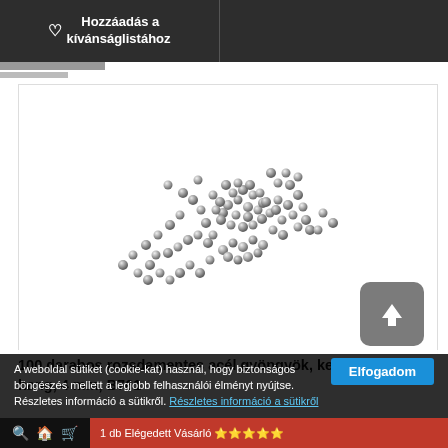♡ Hozzáadás a kívánságlistához
[Figure (photo): Scattered small stainless steel round silver beads on white background]
100 darabos rozsdamentes acél gyöngyök, kerek ezüst hang, 4 mm, B761
A weboldal sütiket (cookie-kat) használ, hogy biztonságos böngészés mellett a legjobb felhasználói élményt nyújtse. Részletes információ a sütikről. Részletes információ a sütikről — Elfogadom
1 db Elégedett Vásárló